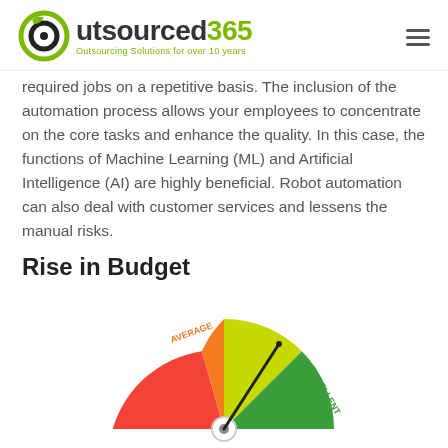outsourced365 — Outsourcing Solutions for over 10 years
required jobs on a repetitive basis. The inclusion of the automation process allows your employees to concentrate on the core tasks and enhance the quality. In this case, the functions of Machine Learning (ML) and Artificial Intelligence (AI) are highly beneficial. Robot automation can also deal with customer services and lessens the manual risks.
Rise in Budget
[Figure (infographic): A semicircular gauge/speedometer showing four segments: Poor (red), Average (orange), Good (yellow-green), Excellent (green). The needle points toward the Good/Excellent boundary, indicating a good rating. Labels POOR, AVERAGE, GOOD, EXCELLENT are placed around the arc.]